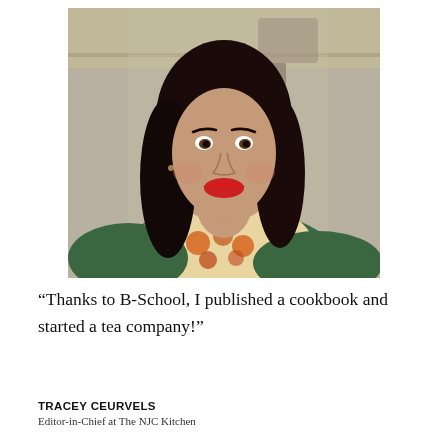[Figure (photo): Portrait photo of a woman with long dark hair, red lips, smiling, wearing a green top and colorful patterned blouse, in a kitchen setting]
“Thanks to B-School, I published a cookbook and started a tea company!”
TRACEY CEURVELS
Editor-in-Chief at The NJC Kitchen